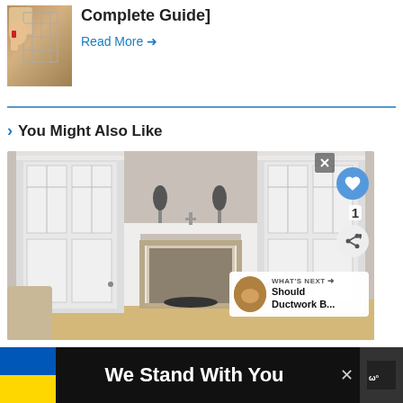[Figure (photo): Thumbnail image of a hand holding a tool near a metal grid/ductwork]
Complete Guide]
Read More →
> You Might Also Like
[Figure (photo): Living room interior with white fireplace mantel, French doors on both sides, and decorative topiary plants on the mantel]
WHAT'S NEXT → Should Ductwork B...
We Stand With You